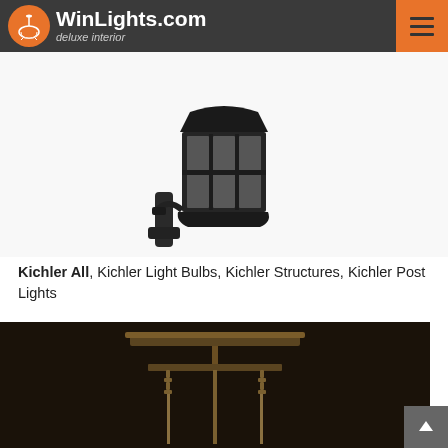WinLights.com deluxe interior
[Figure (photo): Outdoor lantern wall light fixture in dark bronze finish with seeded glass panels, shown from below against white background]
Kichler All, Kichler Light Bulbs, Kichler Structures, Kichler Post Lights
[Figure (photo): Modern pendant light fixture with horizontal metal bar canopy and two thin hanging rods with chain links, dark bronze finish on dark background]